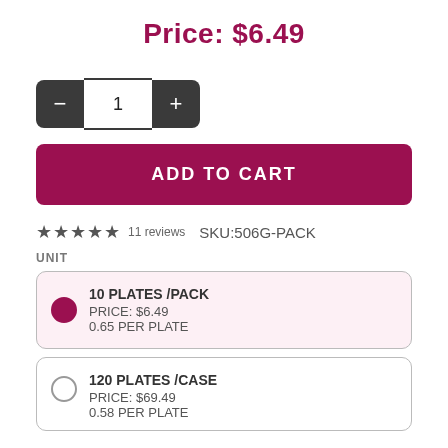Price: $6.49
[Figure (other): Quantity selector with minus and plus buttons showing value 1]
ADD TO CART
★★★★★ 11 reviews  SKU:506G-PACK
UNIT
10 PLATES /PACK
PRICE: $6.49
0.65 PER PLATE
120 PLATES /CASE
PRICE: $69.49
0.58 PER PLATE